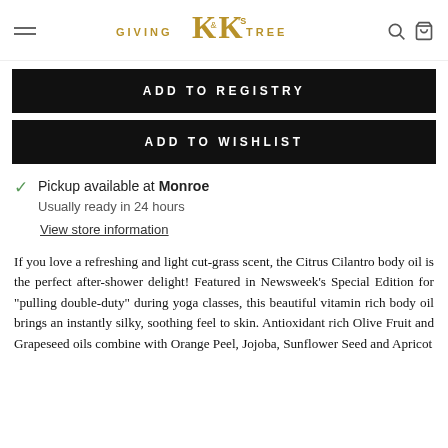GIVING K&K'S TREE
ADD TO REGISTRY
ADD TO WISHLIST
Pickup available at Monroe
Usually ready in 24 hours
View store information
If you love a refreshing and light cut-grass scent, the Citrus Cilantro body oil is the perfect after-shower delight! Featured in Newsweek's Special Edition for "pulling double-duty" during yoga classes, this beautiful vitamin rich body oil brings an instantly silky, soothing feel to skin. Antioxidant rich Olive Fruit and Grapeseed oils combine with Orange Peel, Jojoba, Sunflower Seed and Apricot...